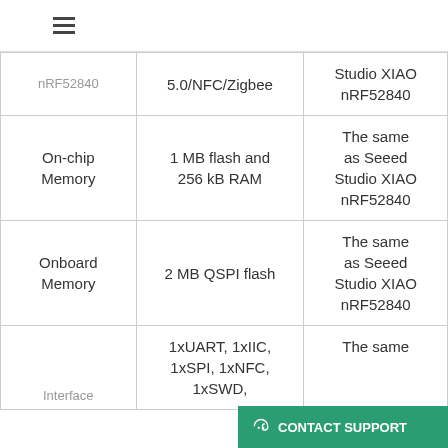Navigation header with menu, search, user, and cart icons
| Feature | XIAO nRF52840 Sense | Comparison |
| --- | --- | --- |
| nRF52840 | Bluetooth 5.0/NFC/Zigbee | Studio XIAO nRF52840 |
| On-chip Memory | 1 MB flash and 256 kB RAM | The same as Seeed Studio XIAO nRF52840 |
| Onboard Memory | 2 MB QSPI flash | The same as Seeed Studio XIAO nRF52840 |
| Interface | 1xUART, 1xIIC, 1xSPI, 1xNFC, 1xSWD, | The same |